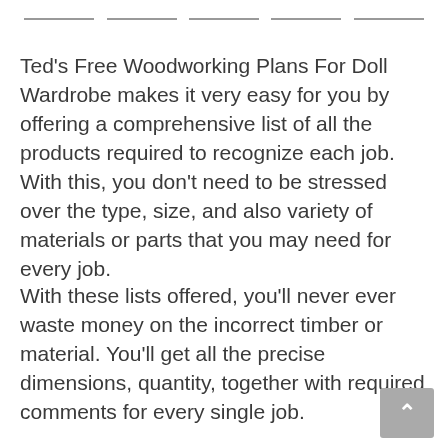— — — — —
Ted's Free Woodworking Plans For Doll Wardrobe makes it very easy for you by offering a comprehensive list of all the products required to recognize each job. With this, you don't need to be stressed over the type, size, and also variety of materials or parts that you may need for every job.
With these lists offered, you'll never ever waste money on the incorrect timber or material. You'll get all the precise dimensions, quantity, together with required comments for every single job.